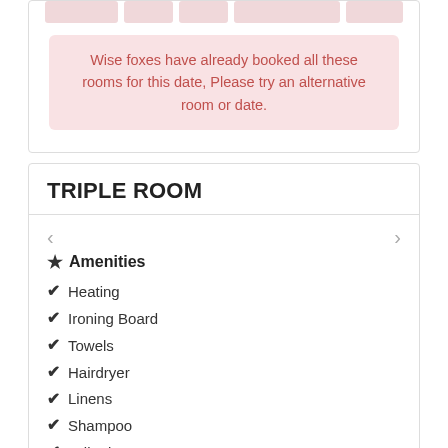[Figure (other): Top bar with colored cells representing a table row with pink/light colored cells]
Wise foxes have already booked all these rooms for this date, Please try an alternative room or date.
TRIPLE ROOM
Amenities
Heating
Ironing Board
Towels
Hairdryer
Linens
Shampoo
Toiletries
Clothes hangers
Paid Parking
Parking Possible
Lock On Bedroom